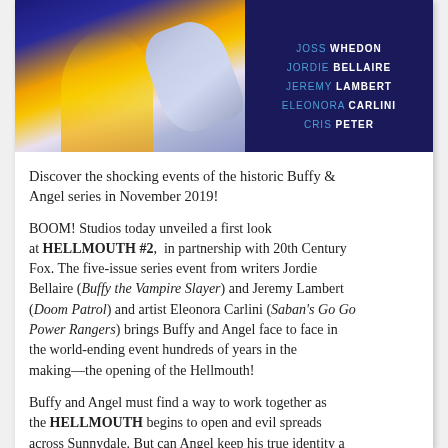[Figure (illustration): Comic book cover art showing flames and a gloved hand on a dark blue background, with credits listed on the right: Joss Whedon, Jordie Bellaire, Jeremy Lambert, Eleonora Carlini, Cris Peter]
Discover the shocking events of the historic Buffy & Angel series in November 2019!
BOOM! Studios today unveiled a first look at HELLMOUTH #2, in partnership with 20th Century Fox. The five-issue series event from writers Jordie Bellaire (Buffy the Vampire Slayer) and Jeremy Lambert (Doom Patrol) and artist Eleonora Carlini (Saban's Go Go Power Rangers) brings Buffy and Angel face to face in the world-ending event hundreds of years in the making—the opening of the Hellmouth!
Buffy and Angel must find a way to work together as the HELLMOUTH begins to open and evil spreads across Sunnydale. But can Angel keep his true identity a